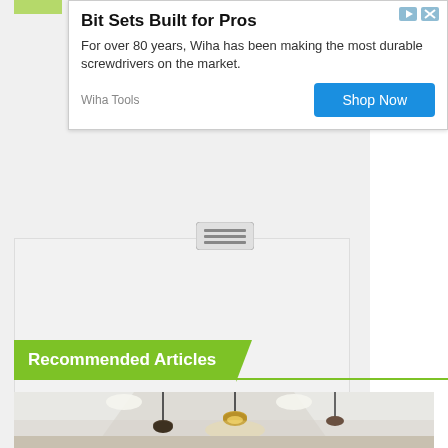[Figure (screenshot): Advertisement banner: 'Bit Sets Built for Pros' by Wiha Tools with a 'Shop Now' button]
[Figure (photo): Gray rectangular content placeholder area]
Recommended Articles
[Figure (photo): Photo of ceiling with pendant lights and recessed lighting in a kitchen/dining area]